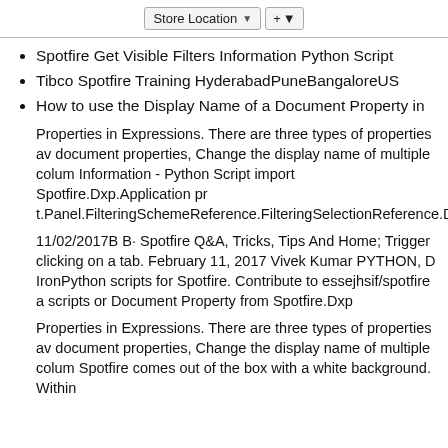[Figure (screenshot): UI toolbar snippet showing a 'Store Location' dropdown button and a '+' dropdown button]
Spotfire Get Visible Filters Information Python Script
Tibco Spotfire Training HyderabadPuneBangaloreUS
How to use the Display Name of a Document Property in
Properties in Expressions. There are three types of properties av document properties, Change the display name of multiple colum Information - Python Script import Spotfire.Dxp.Application pr t.Panel.FilteringSchemeReference.FilteringSelectionReference.D
11/02/2017B B· Spotfire Q&A, Tricks, Tips And Home; Trigger clicking on a tab. February 11, 2017 Vivek Kumar PYTHON, D IronPython scripts for Spotfire. Contribute to essejhsif/spotfire a scripts or Document Property from Spotfire.Dxp
Properties in Expressions. There are three types of properties av document properties, Change the display name of multiple colum Spotfire comes out of the box with a white background. Within